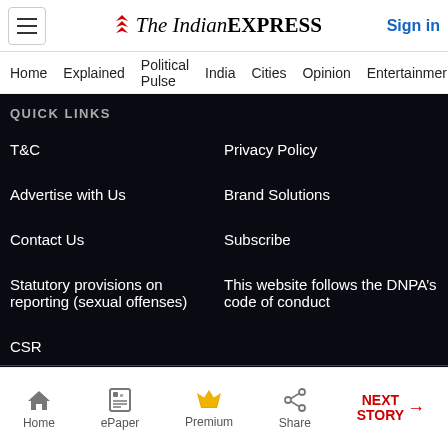The Indian EXPRESS | Sign in
Home | Explained | Political Pulse | India | Cities | Opinion | Entertainment
QUICK LINKS
T&C
Privacy Policy
Advertise with Us
Brand Solutions
Contact Us
Subscribe
Statutory provisions on reporting (sexual offenses)
This website follows the DNPA’s code of conduct
CSR
Home | ePaper | Premium | Share | NEXT STORY